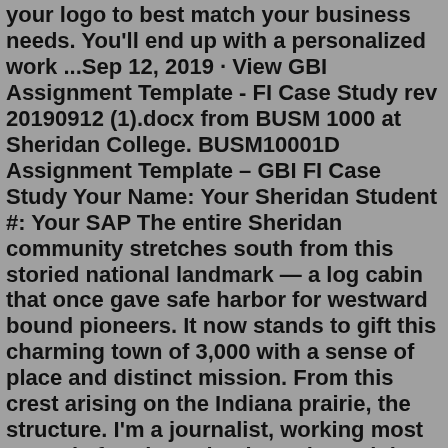your logo to best match your business needs. You'll end up with a personalized work ...Sep 12, 2019 · View GBI Assignment Template - FI Case Study rev 20190912 (1).docx from BUSM 1000 at Sheridan College. BUSM10001D Assignment Template – GBI FI Case Study Your Name: Your Sheridan Student #: Your SAP The entire Sheridan community stretches south from this storied national landmark — a log cabin that once gave safe harbor for westward bound pioneers. It now stands to gift this charming town of 3,000 with a sense of place and distinct mission. From this crest arising on the Indiana prairie, the structure. I'm a journalist, working most recently for The Columbus Dispatch in Columbus, Ohio, where I cover higher education. I was born in the suburbs of Columbus and raised on the internet. Ohio State schooled me and working for The Lantern sharpened my curiosity, taught me to write on deadline and to care about the people who share their stories ... We are here to help you choose coverage that fits your life and budgetThe Sheridan Component Template